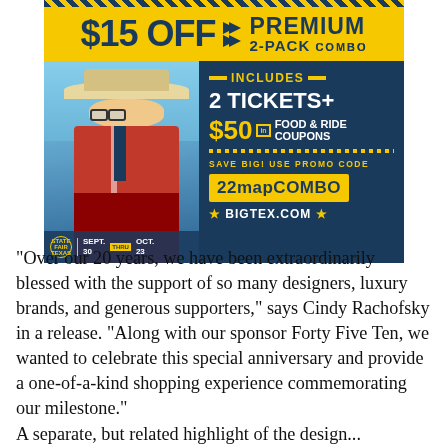[Figure (infographic): State Fair of Texas advertisement for $15 OFF Premium 2-Pack Combo. Includes image of Big Tex statue, offer details (2 tickets + $50 in food & ride coupons), promo code 22mapCOMBO, website BIGTEX.COM, and dates Sept. 30 thru Oct. 23.]
“Over our 20 years, we have been extraordinarily blessed with the support of so many designers, luxury brands, and generous supporters,” says Cindy Rachofsky in a release. “Along with our sponsor Forty Five Ten, we wanted to celebrate this special anniversary and provide a one-of-a-kind shopping experience commemorating our milestone.”
A separate, but related highlight of the design...